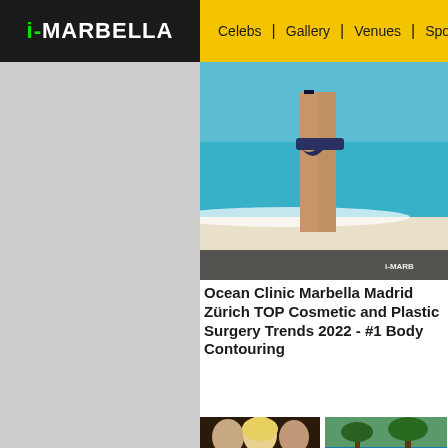[Figure (logo): i-MARBELLA logo in white text on dark background with green 'i-' prefix]
Celebs | Gallery | Venues | Sport | Restau...
[Figure (photo): Woman in bikini on beach, viewed from behind, turquoise water, white sand. i-MARB watermark visible.]
Ocean Clinic Marbella Madrid Zürich TOP Cosmetic and Plastic Surgery Trends 2022 - #1 Body Contouring
[Figure (photo): Group photo of three people at an event, with i-MARBELLA.COM EXCLUSIVE overlay text in pink/magenta]
In Memory Sheikh
[Figure (photo): Partial thumbnail of another article, partially cropped]
Spa